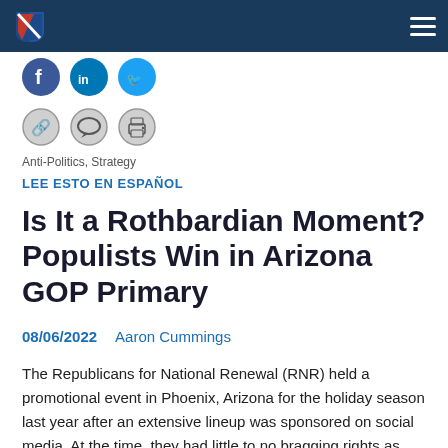Navigation bar with logo and hamburger menu
[Figure (logo): Shield logo with red and blue sections, white diagonal stripe, on dark navy header bar]
Anti-Politics, Strategy
LEE ESTO EN ESPAÑOL
Is It a Rothbardian Moment? Populists Win in Arizona GOP Primary
08/06/2022    Aaron Cummings
The Republicans for National Renewal (RNR) held a promotional event in Phoenix, Arizona for the holiday season last year after an extensive lineup was sponsored on social media. At the time, they had little to no bragging rights as they fought an uphill battle against election integrity.